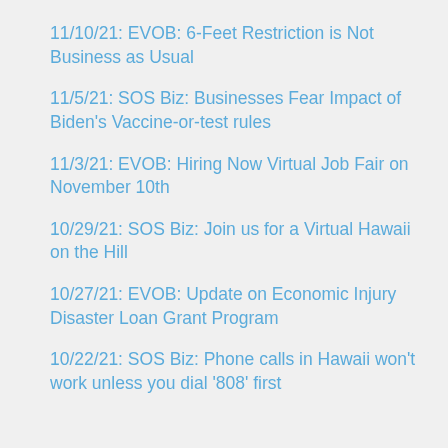11/10/21: EVOB: 6-Feet Restriction is Not Business as Usual
11/5/21: SOS Biz: Businesses Fear Impact of Biden's Vaccine-or-test rules
11/3/21: EVOB: Hiring Now Virtual Job Fair on November 10th
10/29/21: SOS Biz: Join us for a Virtual Hawaii on the Hill
10/27/21: EVOB: Update on Economic Injury Disaster Loan Grant Program
10/22/21: SOS Biz:  Phone calls in Hawaii won't work unless you dial '808' first